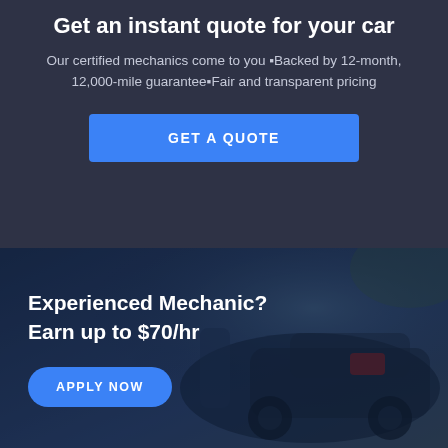Get an instant quote for your car
Our certified mechanics come to you •Backed by 12-month, 12,000-mile guarantee•Fair and transparent pricing
GET A QUOTE
Experienced Mechanic? Earn up to $70/hr
APPLY NOW